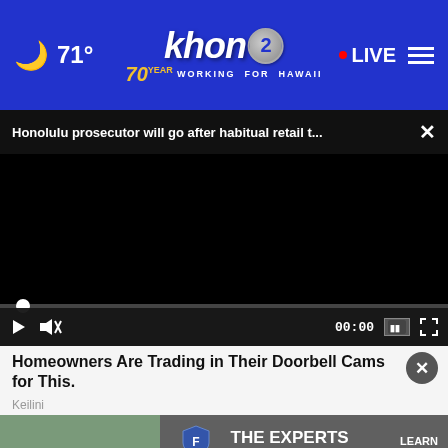71° khon2 WORKING FOR HAWAII • LIVE
Honolulu prosecutor will go after habitual retail t...
[Figure (screenshot): Black video player with playback controls showing 00:00 timecode, play button, mute button, captions button, and fullscreen button]
Homeowners Are Trading in Their Doorbell Cams for This.
Keilini
[Figure (other): Friedrich air conditioning advertisement banner: THE EXPERTS IN ROOM AIR CONDITIONING LEARN MORE »]